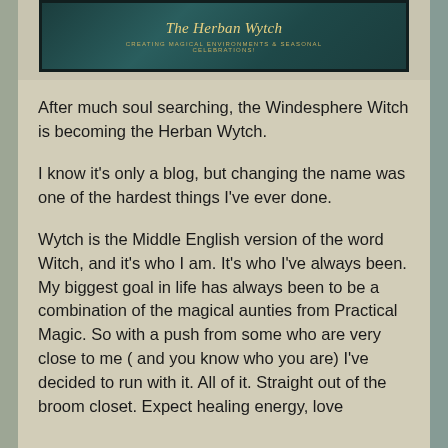[Figure (illustration): Banner image for 'The Herban Wytch' blog with teal/dark green background, decorative script title, and subtitle 'Creating Magical Environments & Seasonal Celebrations']
After much soul searching, the Windesphere Witch is becoming the Herban Wytch.
I know it's only a blog, but changing the name was one of the hardest things I've ever done.
Wytch is the Middle English version of the word Witch, and it's who I am. It's who I've always been. My biggest goal in life has always been to be a combination of the magical aunties from Practical Magic. So with a push from some who are very close to me ( and you know who you are) I've decided to run with it. All of it. Straight out of the broom closet. Expect healing energy, love